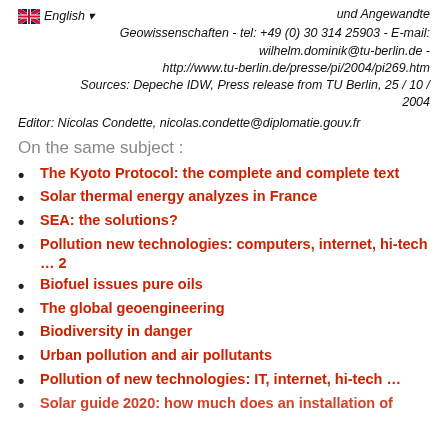Teacher: Dr. Wilhelm Dominik – Fakultät VI Bauingenieurwesen und Angewandte Geowissenschaften - tel: +49 (0) 30 314 25903 - E-mail: wilhelm.dominik@tu-berlin.de - http://www.tu-berlin.de/presse/pi/2004/pi269.htm Sources: Depeche IDW, Press release from TU Berlin, 25 / 10 / 2004
Editor: Nicolas Condette, nicolas.condette@diplomatie.gouv.fr
On the same subject :
The Kyoto Protocol: the complete and complete text
Solar thermal energy analyzes in France
SEA: the solutions?
Pollution new technologies: computers, internet, hi-tech … 2
Biofuel issues pure oils
The global geoengineering
Biodiversity in danger
Urban pollution and air pollutants
Pollution of new technologies: IT, internet, hi-tech …
Solar guide 2020: how much does an installation of